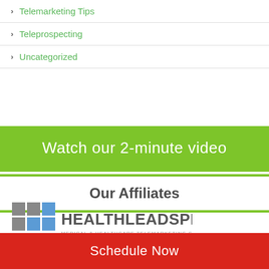Telemarketing Tips
Teleprospecting
Uncategorized
[Figure (infographic): Green banner with white text: Watch our 2-minute video]
Our Affiliates
[Figure (logo): HealthLeadsPlus logo - Medical & Healthcare Telemarketing Services]
[Figure (infographic): Red banner with white text: Schedule Now]